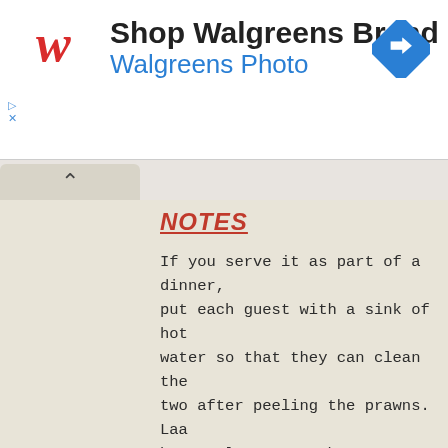[Figure (logo): Walgreens advertisement banner with red cursive W logo, bold text 'Shop Walgreens Brand', blue subtitle 'Walgreens Photo', and blue diamond navigation icon on the right]
NOTES
If you serve it as part of a dinner, put each guest with a sink of hot water so that they can clean the two after peeling the prawns. Laa banana leaves can be purchased in fruit shops and specialty stores. If you leave the seafood longer in the marinade. will have more flavor.
Variation: you can use all kinds of